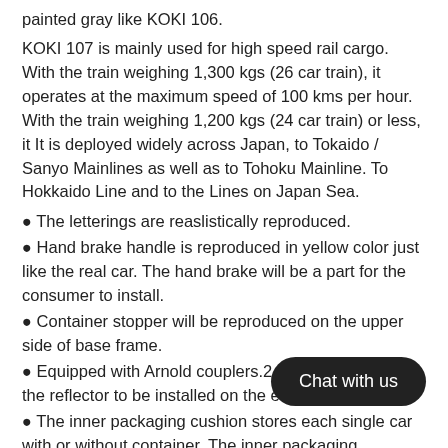painted gray like KOKI 106.
KOKI 107 is mainly used for high speed rail cargo. With the train weighing 1,300 kgs (26 car train), it operates at the maximum speed of 100 kms per hour. With the train weighing 1,200 kgs (24 car train) or less, it It is deployed widely across Japan, to Tokaido / Sanyo Mainlines as well as to Tohoku Mainline. To Hokkaido Line and to the Lines on Japan Sea.
The letterings are reaslistically reproduced.
Hand brake handle is reproduced in yellow color just like the real car. The hand brake will be a part for the consumer to install.
Container stopper will be reproduced on the upper side of base frame.
Equipped with Arnold couplers.2 Car Set will include the reflector to be installed on the end of train.
The inner packaging cushion stores each single car with or without container. The inner packaging bookcase type can contain 12 cars of KOKI 106/107.